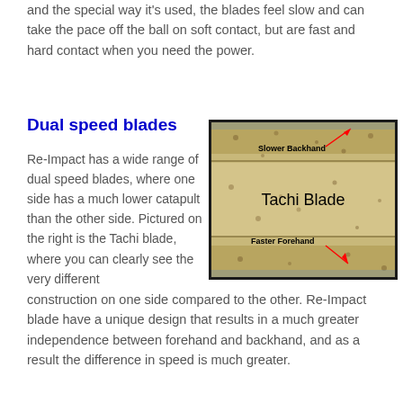and the special way it's used, the blades feel slow and can take the pace off the ball on soft contact, but are fast and hard contact when you need the power.
Dual speed blades
[Figure (photo): Close-up photo of the Tachi Blade showing two different surface constructions: 'Slower Backhand' labeled at top with a red arrow pointing to the upper surface, and 'Faster Forehand' labeled at bottom with a red arrow pointing to the lower surface. The text 'Tachi Blade' appears in the center of the image.]
Re-Impact has a wide range of dual speed blades, where one side has a much lower catapult than the other side. Pictured on the right is the Tachi blade, where you can clearly see the very different construction on one side compared to the other. Re-Impact blade have a unique design that results in a much greater independence between forehand and backhand, and as a result the difference in speed is much greater.